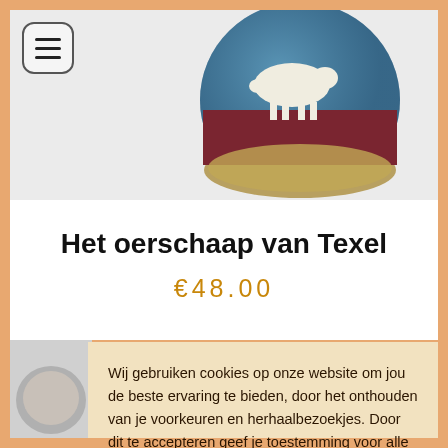[Figure (photo): Ceramic bowl or sphere with blue, red, and white decorative design featuring an animal (sheep/horse) motif on a light grey background. Menu hamburger icon visible top-left.]
Het oerschaap van Texel
€48.00
Wij gebruiken cookies op onze website om jou de beste ervaring te bieden, door het onthouden van je voorkeuren en herhaalbezoekjes. Door dit te accepteren geef je toestemming voor alle cookies.
Cookie settings   OK
[Figure (photo): Partial view of another ceramic/product item, grey tones, at the bottom left of the page.]